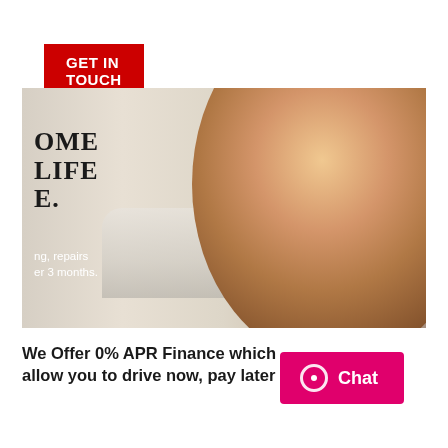GET IN TOUCH
[Figure (photo): Photo of a young blonde child in an orange shirt sitting on a sofa, looking down, with overlaid text reading 'OME / LIFE / E. / ng, repairs / er 3 months.']
We Offer 0% APR Finance which allow you to drive now, pay later
Chat